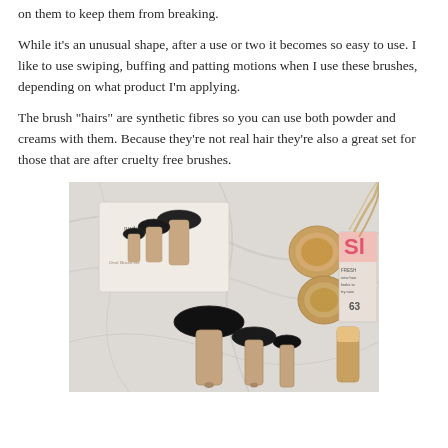on them to keep them from breaking.
While it's an unusual shape, after a use or two it becomes so easy to use. I like to use swiping, buffing and patting motions when I use these brushes, depending on what product I'm applying.
The brush "hairs" are synthetic fibres so you can use both powder and creams with them. Because they're not real hair they're also a great set for those that are after cruelty free brushes.
[Figure (photo): Photo of nudebynature oval brush set in rose gold and black on a marble surface, alongside makeup compacts, a magazine, and beauty products]